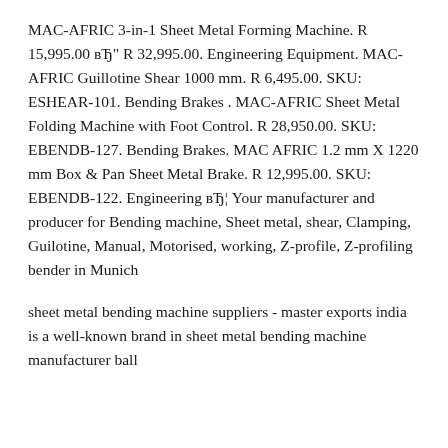MAC-AFRIC 3-in-1 Sheet Metal Forming Machine. R 15,995.00 вЂ" R 32,995.00. Engineering Equipment. MAC-AFRIC Guillotine Shear 1000 mm. R 6,495.00. SKU: ESHEAR-101. Bending Brakes . MAC-AFRIC Sheet Metal Folding Machine with Foot Control. R 28,950.00. SKU: EBENDB-127. Bending Brakes. MAC AFRIC 1.2 mm X 1220 mm Box & Pan Sheet Metal Brake. R 12,995.00. SKU: EBENDB-122. Engineering вЂ¦ Your manufacturer and producer for Bending machine, Sheet metal, shear, Clamping, Guilotine, Manual, Motorised, working, Z-profile, Z-profiling bender in Munich
sheet metal bending machine suppliers - master exports india is a well-known brand in sheet metal bending machine manufacturer ball...